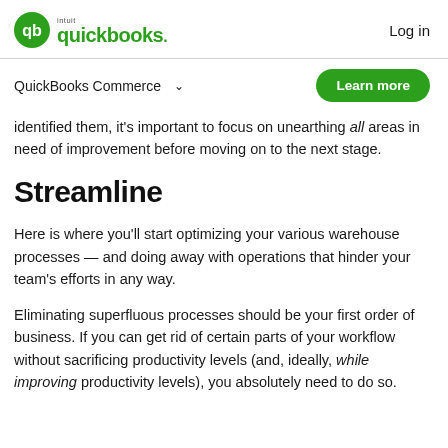intuit quickbooks. | Log in
QuickBooks Commerce  ∨
Learn more
identified them, it's important to focus on unearthing all areas in need of improvement before moving on to the next stage.
Streamline
Here is where you'll start optimizing your various warehouse processes — and doing away with operations that hinder your team's efforts in any way.
Eliminating superfluous processes should be your first order of business. If you can get rid of certain parts of your workflow without sacrificing productivity levels (and, ideally, while improving productivity levels), you absolutely need to do so.